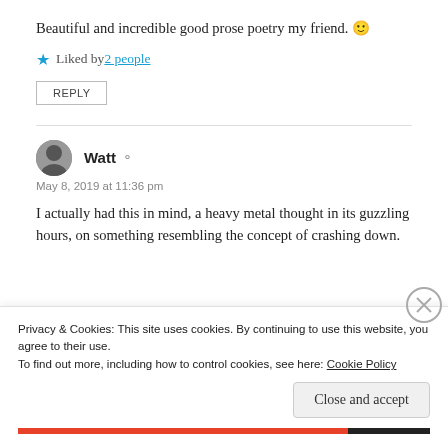Beautiful and incredible good prose poetry my friend. 🙂
Liked by 2 people
REPLY
Watt
May 8, 2019 at 11:36 pm
I actually had this in mind, a heavy metal thought in its guzzling hours, on something resembling the concept of crashing down.
Privacy & Cookies: This site uses cookies. By continuing to use this website, you agree to their use.
To find out more, including how to control cookies, see here: Cookie Policy
Close and accept